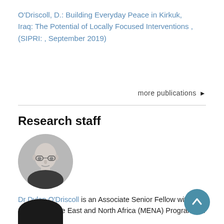O'Driscoll, D.: Building Everyday Peace in Kirkuk, Iraq: The Potential of Locally Focused Interventions , (SIPRI: , September 2019)
more publications ►
Research staff
[Figure (photo): Circular black and white headshot of a bald man wearing glasses and a dark shirt — Dr Dylan O'Driscoll]
Dr Dylan O'Driscoll is an Associate Senior Fellow with SIPRI's Middle East and North Africa (MENA) Programme.
[Figure (photo): Partial circular black and white headshot of another staff member, cropped at bottom of page]